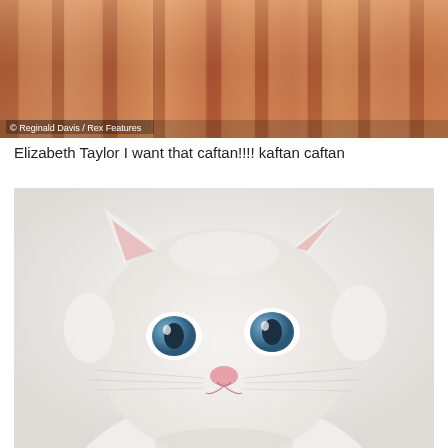[Figure (photo): Close-up of a copper/rose-gold metallic pleated fabric dress or caftan, cropped showing only the fabric folds. Watermark reads: © Reginald Davis / Rex Features]
© Reginald Davis / Rex Features
Elizabeth Taylor I want that caftan!!!! kaftan caftan
[Figure (photo): Close-up photo of a white fluffy cat with striking blue eyes and a pink nose, looking directly at the camera against a white background.]